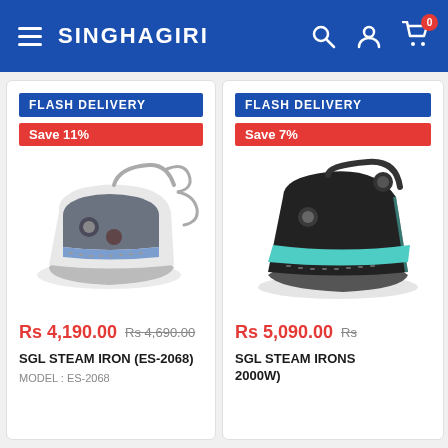SINGHAGIRI — navigation header with hamburger menu, search, account, and cart (0 items) icons
[Figure (screenshot): Product card 1: Flash Delivery badge, Save 11% badge, image of SGL Steam Iron ES-2068 (white/grey travel iron with coiled cord). Price: Rs 4,190.00 (was Rs 4,690.00). Title: SGL STEAM IRON (ES-2068). Model: ES-2068.]
[Figure (screenshot): Product card 2: Flash Delivery badge, Save 7% badge, image of SGL Steam Iron (black/teal, 2000W). Price: Rs 5,090.00 (original price partially cut off). Title: SGL STEAM IRONS... 2000W) — partially visible.]